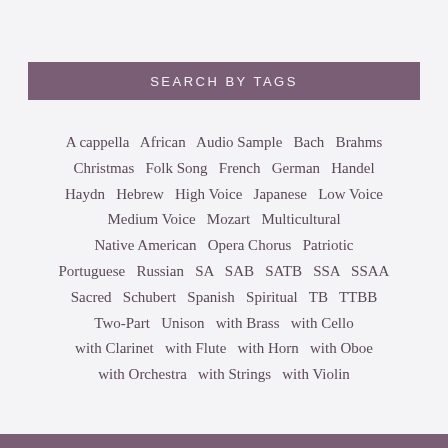SEARCH BY TAGS
A cappella  African  Audio Sample  Bach  Brahms  Christmas  Folk Song  French  German  Handel  Haydn  Hebrew  High Voice  Japanese  Low Voice  Medium Voice  Mozart  Multicultural  Native American  Opera Chorus  Patriotic  Portuguese  Russian  SA  SAB  SATB  SSA  SSAA  Sacred  Schubert  Spanish  Spiritual  TB  TTBB  Two-Part  Unison  with Brass  with Cello  with Clarinet  with Flute  with Horn  with Oboe  with Orchestra  with Strings  with Violin